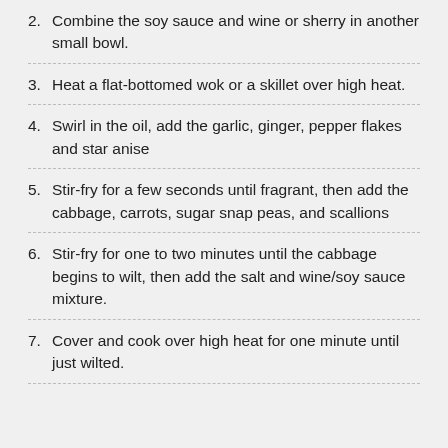2. Combine the soy sauce and wine or sherry in another small bowl.
3. Heat a flat-bottomed wok or a skillet over high heat.
4. Swirl in the oil, add the garlic, ginger, pepper flakes and star anise
5. Stir-fry for a few seconds until fragrant, then add the cabbage, carrots, sugar snap peas, and scallions
6. Stir-fry for one to two minutes until the cabbage begins to wilt, then add the salt and wine/soy sauce mixture.
7. Cover and cook over high heat for one minute until just wilted.